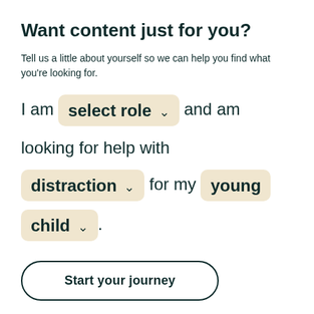Want content just for you?
Tell us a little about yourself so we can help you find what you’re looking for.
I am select role ∨ and am looking for help with distraction ∨ for my young child ∨ .
Start your journey